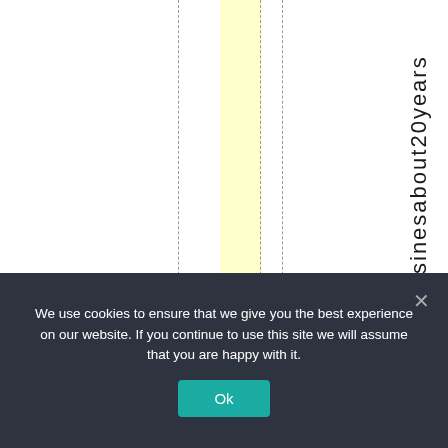[Figure (other): A partial document page showing vertical column lines (dashed), a yellow highlighted column, and rotated vertical text reading 'sinesabout20years' on the right side.]
We use cookies to ensure that we give you the best experience on our website. If you continue to use this site we will assume that you are happy with it.
Ok